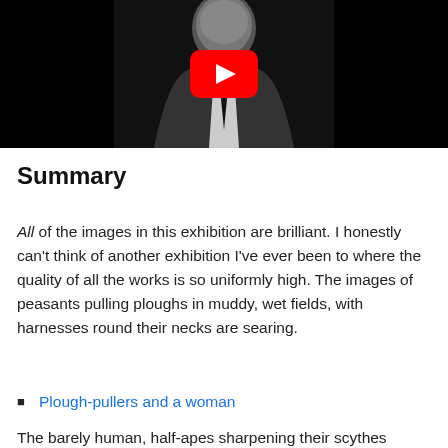[Figure (photo): Black and white photo of a man in a suit and tie with a YouTube play button overlay in the center, video thumbnail style with dark background.]
Summary
All of the images in this exhibition are brilliant. I honestly can't think of another exhibition I've ever been to where the quality of all the works is so uniformly high. The images of peasants pulling ploughs in muddy, wet fields, with harnesses round their necks are searing.
Plough-pullers and a woman
The barely human, half-apes sharpening their scythes